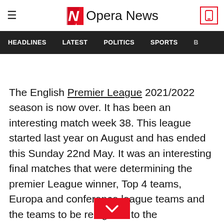Opera News
HEADLINES  LATEST  POLITICS  SPORTS
The English Premier League 2021/2022 season is now over. It has been an interesting match week 38. This league started last year on August and has ended this Sunday 22nd May. It was an interesting final matches that were determining the premier League winner, Top 4 teams, Europa and conference league teams and the teams to be relegated to the Championship division.